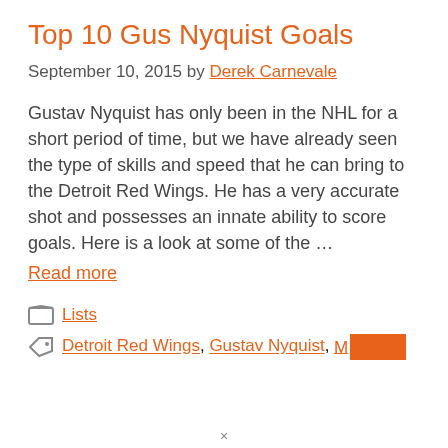Top 10 Gus Nyquist Goals
September 10, 2015 by Derek Carnevale
Gustav Nyquist has only been in the NHL for a short period of time, but we have already seen the type of skills and speed that he can bring to the Detroit Red Wings. He has a very accurate shot and possesses an innate ability to score goals. Here is a look at some of the …
Read more
Lists
Detroit Red Wings, Gustav Nyquist, M[redacted]